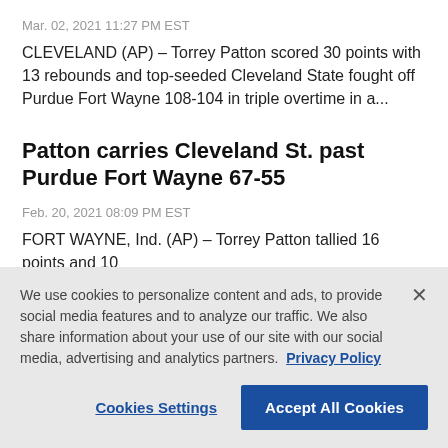Mar. 02, 2021 11:27 PM EST
CLEVELAND (AP) – Torrey Patton scored 30 points with 13 rebounds and top-seeded Cleveland State fought off Purdue Fort Wayne 108-104 in triple overtime in a...
Patton carries Cleveland St. past Purdue Fort Wayne 67-55
Feb. 20, 2021 08:09 PM EST
FORT WAYNE, Ind. (AP) – Torrey Patton tallied 16 points and 10
We use cookies to personalize content and ads, to provide social media features and to analyze our traffic. We also share information about your use of our site with our social media, advertising and analytics partners.  Privacy Policy
Cookies Settings  Accept All Cookies